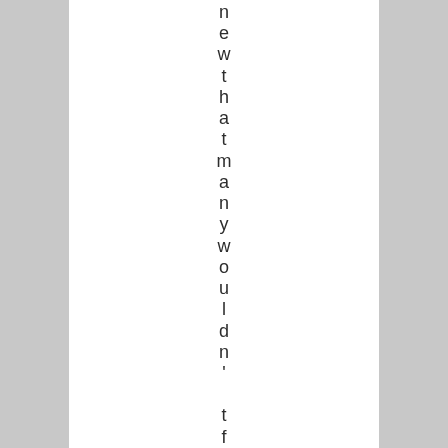n e w t h a t m a n y w o u l d n ' t f o l l o w